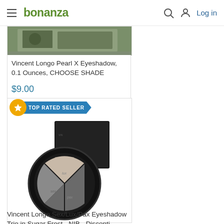bonanza — Log in
[Figure (photo): Partial top of a first product listing showing a green/dark product image cropped at top]
Vincent Longo Pearl X Eyeshadow, 0.1 Ounces, CHOOSE SHADE
$9.00
[Figure (photo): Product listing card with TOP RATED SELLER badge showing Vincent Longo Sex/Lux/Pax Eyeshadow Trio in Sugar Frost — a circular tri-color eyeshadow compact with black packaging on white background]
Vincent Longo Sex/Lux/Pax Eyeshadow Trio in Sugar Frost - NIB - Disconti...